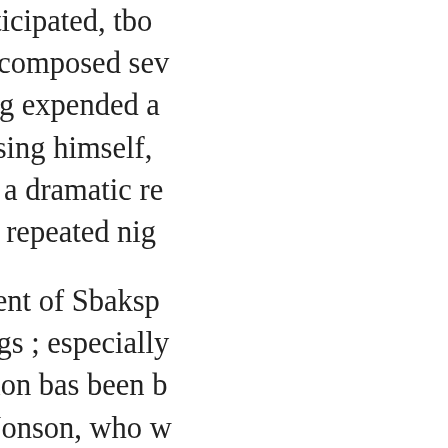Shakspeare bad anticipated, tho understanding. He composed sev bis hero; and having expended a niethod of reimbursing himself, t was converted into a dramatic re popular, that it was repeated nig
The nature and extent of Sbaksp bis dramatic writings ; especially ingenious speculation bas been b learning, and Ben Jonson, who v to multitudes, allirms that he ha subject, has proved that his imag books, to which he had easy acc as are opposed to this opinion. M points out the skill with which S called the ithyphallic measure," affords " a most beauüisul instan knowledge of Greek and Latin c might not be derived from Tovra Aristoplianes. Indeed, plagiarism sentiment; a business which may dissertation on Chevy Chase, an passages wbich Dr. Farmer bas p